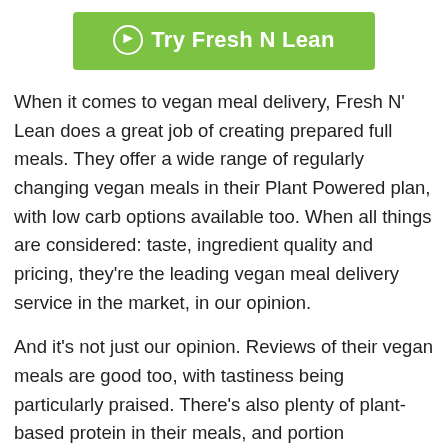[Figure (other): Green call-to-action button with white circle arrow icon and text 'Try Fresh N Lean']
When it comes to vegan meal delivery, Fresh N' Lean does a great job of creating prepared full meals. They offer a wide range of regularly changing vegan meals in their Plant Powered plan, with low carb options available too. When all things are considered: taste, ingredient quality and pricing, they're the leading vegan meal delivery service in the market, in our opinion.
And it's not just our opinion. Reviews of their vegan meals are good too, with tastiness being particularly praised. There's also plenty of plant-based protein in their meals, and portion